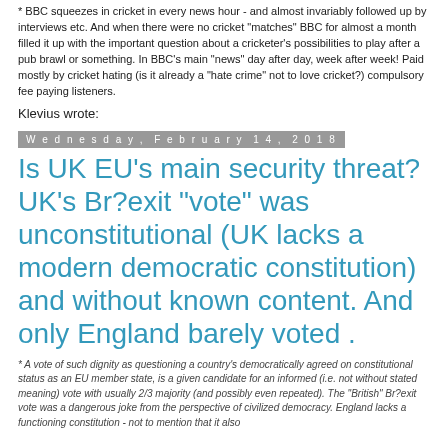* BBC squeezes in cricket in every news hour - and almost invariably followed up by interviews etc. And when there were no cricket "matches" BBC for almost a month filled it up with the important question about a cricketer's possibilities to play after a pub brawl or something. In BBC's main "news" day after day, week after week! Paid mostly by cricket hating (is it already a "hate crime" not to love cricket?) compulsory fee paying listeners.
Klevius wrote:
Wednesday, February 14, 2018
Is UK EU's main security threat? UK's Br?exit "vote" was unconstitutional (UK lacks a modern democratic constitution) and without known content. And only England barely voted .
* A vote of such dignity as questioning a country's democratically agreed on constitutional status as an EU member state, is a given candidate for an informed (i.e. not without stated meaning) vote with usually 2/3 majority (and possibly even repeated). The "British" Br?exit vote was a dangerous joke from the perspective of civilized democracy. England lacks a functioning constitution - not to mention that it also